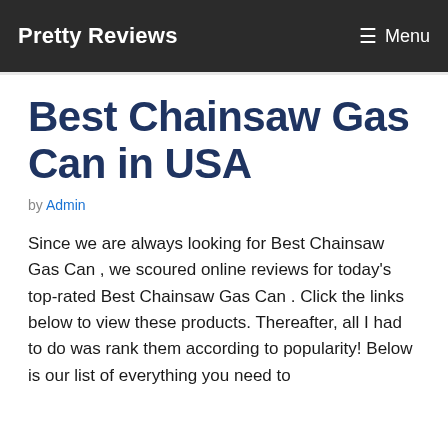Pretty Reviews    ☰ Menu
Best Chainsaw Gas Can in USA
by Admin
Since we are always looking for Best Chainsaw Gas Can , we scoured online reviews for today's top-rated Best Chainsaw Gas Can . Click the links below to view these products. Thereafter, all I had to do was rank them according to popularity! Below is our list of everything you need to